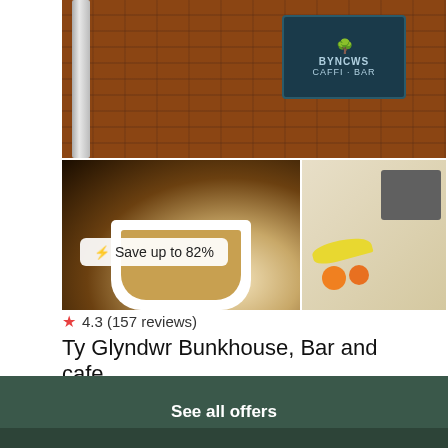[Figure (photo): Photo collage of Ty Glyndwr Bunkhouse Bar and Cafe: top image shows brick building exterior with BYNCWS CAFFI + BAR sign, bottom-left shows coffee being poured into white cup, bottom-right shows breakfast spread with toaster, bananas, oranges and other items]
⚡ Save up to 82%
★ 4.3 (157 reviews)
Ty Glyndwr Bunkhouse, Bar and cafe
hostel
£31.24 /night
Booking.com
View deal
See all offers